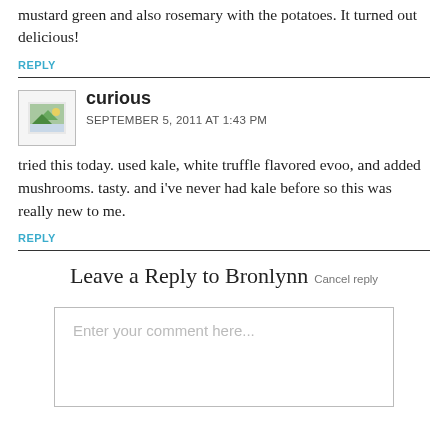mustard green and also rosemary with the potatoes. It turned out delicious!
REPLY
curious
SEPTEMBER 5, 2011 AT 1:43 PM
tried this today. used kale, white truffle flavored evoo, and added mushrooms. tasty. and i've never had kale before so this was really new to me.
REPLY
Leave a Reply to Bronlynn Cancel reply
Enter your comment here...